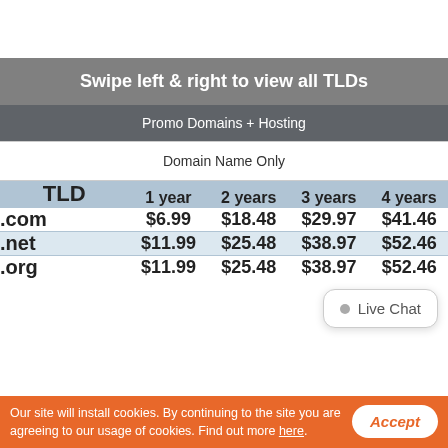Swipe left & right to view all TLDs
Promo Domains + Hosting
Domain Name Only
| TLD | 1 year | 2 years | 3 years | 4 years | 5 years | 6 y... |
| --- | --- | --- | --- | --- | --- | --- |
| .com | $6.99 | $18.48 | $29.97 | $41.46 | $52.95 | $6... |
| .net | $11.99 | $25.48 | $38.97 | $52.46 | $65.95 | $7... |
| .org | $11.99 | $25.48 | $38.97 | $52.46 | $65.95 | $7... |
Our site will install cookies. By continuing to the site you are agreeing to our usage of cookies. Find out more here.